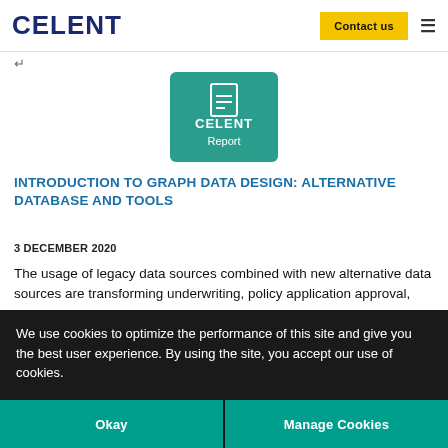CELENT   Contact us   ≡
↵
[Figure (logo): Celent Report logo — teal/green square badge with white text reading 'CELENT Report' and a document icon]
INTRODUCTION TO GRAPH DATA DESIGN: ALTERNATIVE DATABASE AND TOOLS
3 DECEMBER 2020
The usage of legacy data sources combined with new alternative data sources are transforming underwriting, policy application approval, and issu
We use cookies to optimize the performance of this site and give you the best user experience. By using the site, you accept our use of cookies.
Okay   Manage Cookies